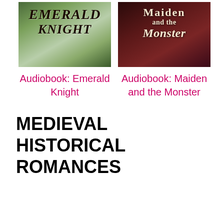[Figure (illustration): Book cover for Emerald Knight audiobook, green-toned cover with stylized title text]
Audiobook: Emerald Knight
[Figure (illustration): Book cover for Maiden and the Monster audiobook, dark red-toned cover with stylized title text]
Audiobook: Maiden and the Monster
MEDIEVAL HISTORICAL ROMANCES